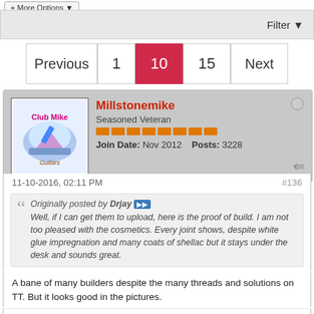[Figure (screenshot): Top filter bar with Filter dropdown button]
Previous 1 10 15 Next — pagination row
[Figure (screenshot): Forum user profile header for Millstonemike, Seasoned Veteran, Join Date: Nov 2012, Posts: 3228]
11-10-2016, 02:11 PM   #136
Originally posted by Drjay
Well, if I can get them to upload, here is the proof of build. I am not too pleased with the cosmetics. Every joint shows, despite white glue impregnation and many coats of shellac but it stays under the desk and sounds great.
A bane of many builders despite the many threads and solutions on TT. But it looks good in the pictures.